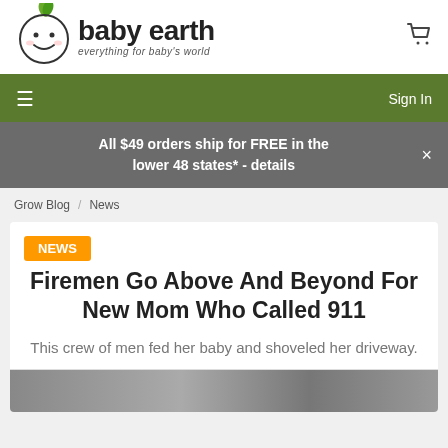[Figure (logo): Baby Earth logo with a smiling baby face wearing a leaf hat, next to bold text 'baby earth' and tagline 'everything for baby's world']
Sign In
All $49 orders ship for FREE in the lower 48 states* - details
Grow Blog  News
Firemen Go Above And Beyond For New Mom Who Called 911
This crew of men fed her baby and shoveled her driveway.